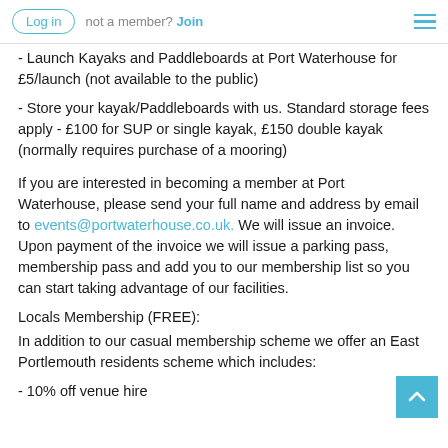Log in   not a member?  Join
- Launch Kayaks and Paddleboards at Port Waterhouse for £5/launch (not available to the public)
- Store your kayak/Paddleboards with us. Standard storage fees apply - £100 for SUP or single kayak, £150 double kayak (normally requires purchase of a mooring)
If you are interested in becoming a member at Port Waterhouse, please send your full name and address by email to events@portwaterhouse.co.uk. We will issue an invoice. Upon payment of the invoice we will issue a parking pass, membership pass and add you to our membership list so you can start taking advantage of our facilities.
Locals Membership (FREE):
In addition to our casual membership scheme we offer an East Portlemouth residents scheme which includes:
- 10% off venue hire